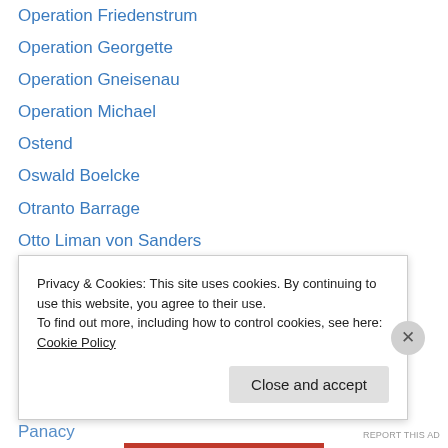Operation Friedenstrum
Operation Georgette
Operation Gneisenau
Operation Michael
Ostend
Oswald Boelcke
Otranto Barrage
Otto Liman von Sanders
Ottoman Empire
Pakistan
Palestine
Palmyra
pandering
Panacy
Privacy & Cookies: This site uses cookies. By continuing to use this website, you agree to their use. To find out more, including how to control cookies, see here: Cookie Policy
Close and accept